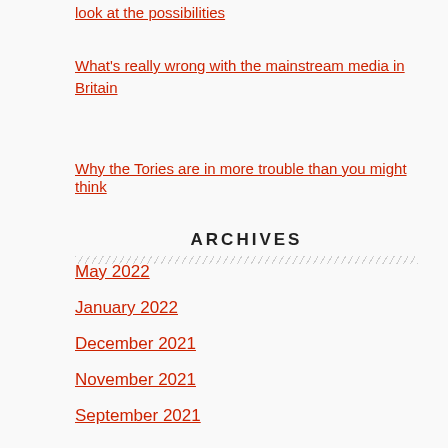look at the possibilities
What's really wrong with the mainstream media in Britain
Why the Tories are in more trouble than you might think
ARCHIVES
May 2022
January 2022
December 2021
November 2021
September 2021
August 2021
July 2021
June 2021
May 2021